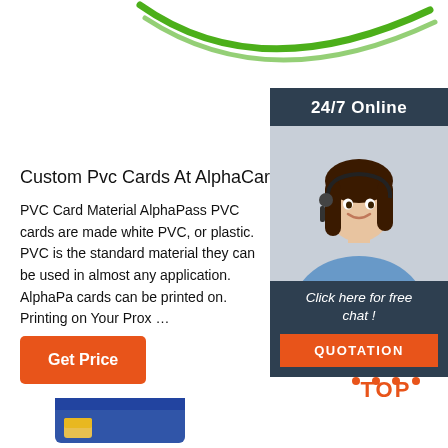[Figure (illustration): Green decorative curved lines at top of page]
[Figure (photo): Sidebar widget showing 24/7 Online support with a woman wearing a headset, a 'Click here for free chat!' message, and an orange QUOTATION button]
Custom Pvc Cards At AlphaCard
PVC Card Material AlphaPass PVC cards are made white PVC, or plastic. PVC is the standard material they can be used in almost any application. AlphaPa cards can be printed on. Printing on Your Prox …
[Figure (illustration): Orange 'Get Price' button]
[Figure (logo): Orange dotted triangle above the word TOP in orange letters — a back-to-top icon]
[Figure (photo): Partial view of a blue credit/ID card at bottom left]